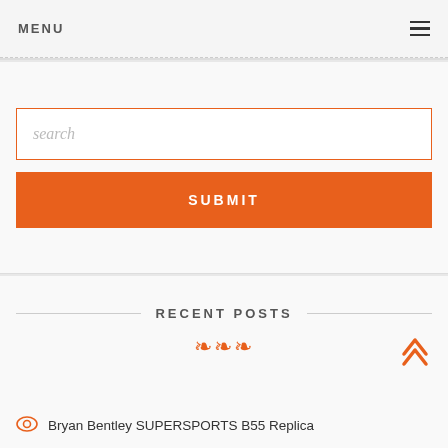MENU
search
SUBMIT
RECENT POSTS
Bryan Bentley SUPERSPORTS B55 Replica